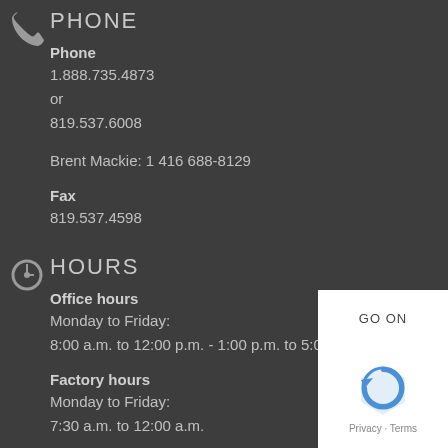PHONE
Phone
1.888.735.4873
or
819.537.6008
Brent Mackie: 1 416 688-8129
Fax
819.537.4598
HOURS
Office hours
Monday to Friday:
8:00 a.m. to 12:00 p.m. - 1:00 p.m. to 5:00 p.m.
Factory hours
Monday to Friday:
7:30 a.m. to 12:00 a.m.
[Figure (infographic): GO ON USA WEBSITE badge with American flag]
[Figure (logo): reCAPTCHA badge with Privacy and Terms text]